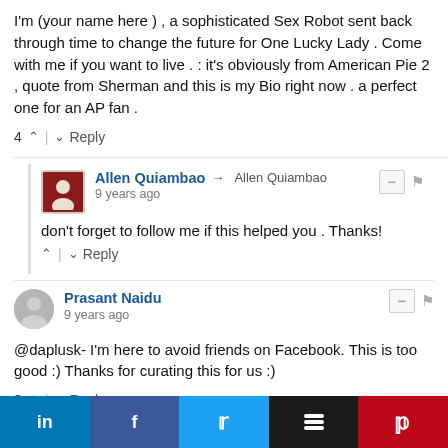I'm (your name here ) , a sophisticated Sex Robot sent back through time to change the future for One Lucky Lady . Come with me if you want to live . : it's obviously from American Pie 2 , quote from Sherman and this is my Bio right now . a perfect one for an AP fan .
4 ^ | v Reply
Allen Quiambao → Allen Quiambao
9 years ago
don't forget to follow me if this helped you . Thanks!
^ | v Reply
Prasant Naidu
9 years ago
@daplusk- I'm here to avoid friends on Facebook. This is too good :) Thanks for curating this for us :)
3 ^ | v Reply
Johnson Thomas K
10 years ago
[Figure (infographic): Social sharing bar with LinkedIn, Facebook, Twitter, Buffer, and Pinterest buttons]